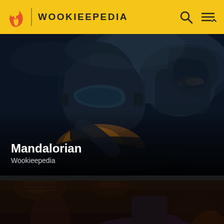WOOKIEEPEDIA
[Figure (photo): Dark cinematic scene showing a Mandalorian warrior in beskar armor leaning over a figure, with glowing orange light source and a weapon firing in the background against a dark misty blue-black atmosphere]
Mandalorian
Wookieepedia
[Figure (photo): Dark scene showing a droid with glowing red eyes wearing a wide-brimmed hat, set in a dimly lit interior with warm amber overhead lights, holding a weapon]